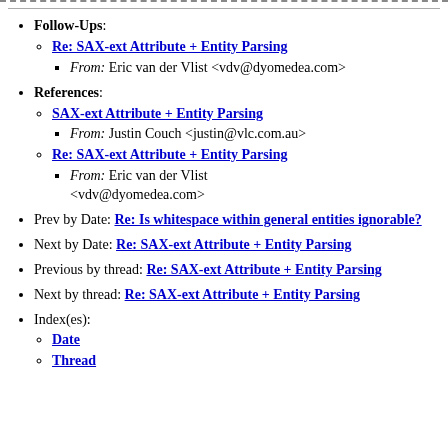Follow-Ups: Re: SAX-ext Attribute + Entity Parsing — From: Eric van der Vlist <vdv@dyomedea.com>
References: SAX-ext Attribute + Entity Parsing — From: Justin Couch <justin@vlc.com.au>; Re: SAX-ext Attribute + Entity Parsing — From: Eric van der Vlist <vdv@dyomedea.com>
Prev by Date: Re: Is whitespace within general entities ignorable?
Next by Date: Re: SAX-ext Attribute + Entity Parsing
Previous by thread: Re: SAX-ext Attribute + Entity Parsing
Next by thread: Re: SAX-ext Attribute + Entity Parsing
Index(es): Date; Thread